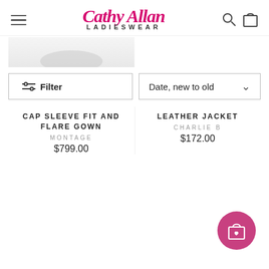[Figure (logo): Cathy Allan Ladieswear logo with script and sans-serif text]
Filter
Date, new to old
CAP SLEEVE FIT AND FLARE GOWN
MONTAGE
$799.00
LEATHER JACKET
CHARLIE B
$172.00